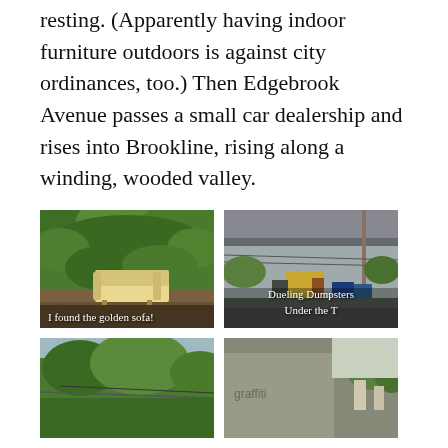resting. (Apparently having indoor furniture outdoors is against city ordinances, too.) Then Edgebrook Avenue passes a small car dealership and rises into Brookline, rising along a winding, wooded valley.
[Figure (photo): Outdoor photo of a yellow/golden sofa abandoned on a sidewalk or lot, with dense green foliage in the background. Caption reads: I found the golden sofa!]
[Figure (photo): Photo taken under an elevated train structure (the T), showing a wet parking lot with a yellow building, utility poles, and blue dumpsters. Caption reads: Dueling Dumpsters Under the T]
[Figure (photo): Photo of trees and power lines, overcast sky visible. Partial bottom of page.]
[Figure (photo): Photo of a concrete wall with graffiti, trees and buildings visible in background. Partial bottom of page.]